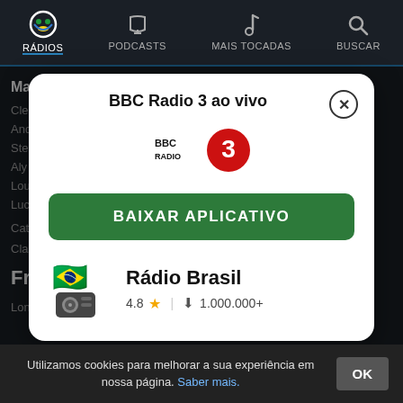RÁDIOS | PODCASTS | MAIS TOCADAS | BUSCAR
Main DJs
Clem
And
Ste
Aly
Lou
Luc
Categoria
Classifica
Frequ
London: 91.3 FM
BBC Radio 3 ao vivo
[Figure (logo): BBC Radio 3 logo - BBC Radio text with red circle containing number 3]
BAIXAR APLICATIVO
[Figure (illustration): Rádio Brasil app icon with Brazilian flag emoji and radio device illustration]
Rádio Brasil
4.8 ★ | ⬇ 1.000.000+
Utilizamos cookies para melhorar a sua experiência em nossa página. Saber mais.